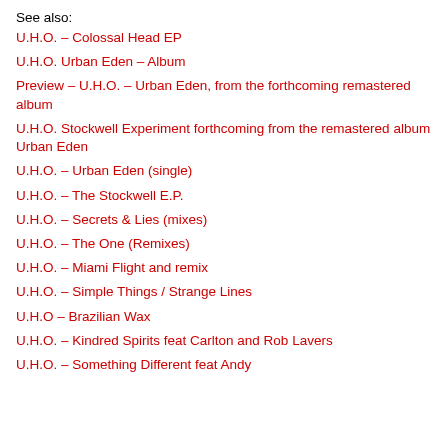See also:
U.H.O. – Colossal Head EP
U.H.O. Urban Eden – Album
Preview – U.H.O. – Urban Eden, from the forthcoming remastered album
U.H.O. Stockwell Experiment forthcoming from the remastered album Urban Eden
U.H.O. – Urban Eden (single)
U.H.O. – The Stockwell E.P.
U.H.O. – Secrets & Lies (mixes)
U.H.O. – The One (Remixes)
U.H.O. – Miami Flight and remix
U.H.O. – Simple Things / Strange Lines
U.H.O – Brazilian Wax
U.H.O. – Kindred Spirits feat Carlton and Rob Lavers
U.H.O. – Something Different feat Andy